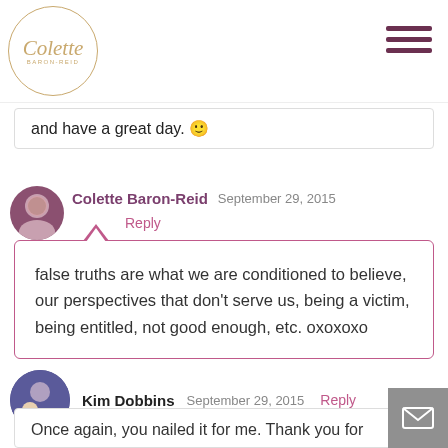Colette Baron-Reid
and have a great day. 🙂
Colette Baron-Reid   September 29, 2015   Reply
false truths are what we are conditioned to believe, our perspectives that don't serve us, being a victim, being entitled, not good enough, etc. oxoxoxo
Kim Dobbins   September 29, 2015   Reply
Once again, you nailed it for me. Thank you for